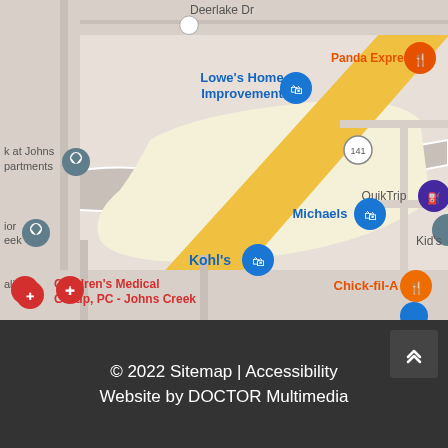[Figure (map): Google Maps screenshot showing Johns Creek area with landmarks: Lowe's Home Improvement, Michaels, Kohl's, Panda Express, QuikTrip, Chick-fil-A, Kid's, Children's Medical Group PC - Johns Creek, and a road labeled 141. A yellow diagonal road runs through the map.]
© 2022 Sitemap | Accessibility
Website by DOCTOR Multimedia